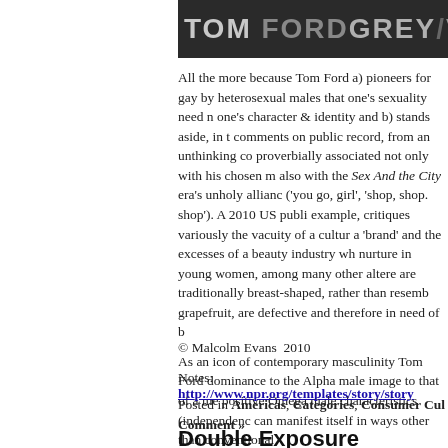[Figure (photo): Tom Ford Grey Vetiver banner/advertisement image with text on dark background]
All the more because Tom Ford a) pioneers for gay by heterosexual males that one's sexuality need n one's character & identity and b) stands aside, in t comments on public record, from an unthinking co proverbially associated not only with his chosen m also with the Sex And the City era's unholy allianc ('you go, girl', 'shop, shop. shop'). A 2010 US publi example, critiques variously the vacuity of a cultur a 'brand' and the excesses of a beauty industry wh nurture in young women, among many other altere are traditionally breast-shaped, rather than resemb grapefruit, are defective and therefore in need of b
As an icon of contemporary masculinity Tom Ford dominance to the Alpha male image to that of a me positive Omega male characteristics (independenc can manifest itself in ways other than conventional
© Malcolm Evans  2010
Notes:  http://www.npr.org/templates/story/story
Posted in Americas, Categories, Consumer Cul Comment »
Double Exposure